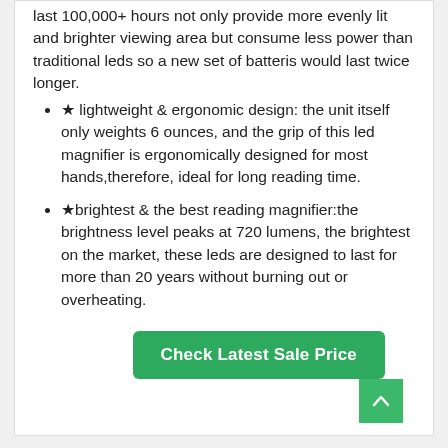last 100,000+ hours not only provide more evenly lit and brighter viewing area but consume less power than traditional leds so a new set of batteris would last twice longer.
★ lightweight & ergonomic design: the unit itself only weights 6 ounces, and the grip of this led magnifier is ergonomically designed for most hands,therefore, ideal for long reading time.
★brightest & the best reading magnifier:the brightness level peaks at 720 lumens, the brightest on the market, these leds are designed to last for more than 20 years without burning out or overheating.
Check Latest Sale Price
8
[Figure (photo): Partial product image at bottom of page]